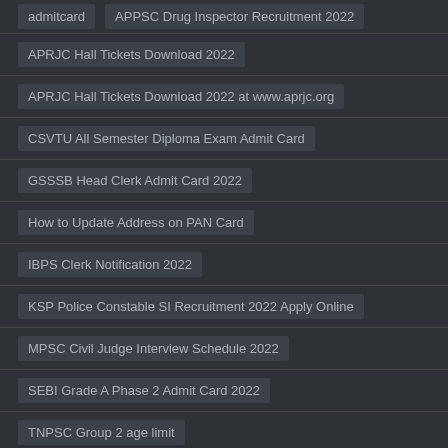admitcard
APPSC Drug Inspector Recruitment 2022
APRJC Hall Tickets Download 2022
APRJC Hall Tickets Download 2022 at www.aprjc.org
CSVTU All Semester Diploma Exam Admit Card
GSSSB Head Clerk Admit Card 2022
How to Update Address on PAN Card
IBPS Clerk Notification 2022
KSP Police Constable SI Recruitment 2022 Apply Online
MPSC Civil Judge Interview Schedule 2022
SEBI Grade A Phase 2 Admit Card 2022
TNPSC Group 2 age limit
TNPSC Group 2 Exam Date 2022
TNPSC Group 2